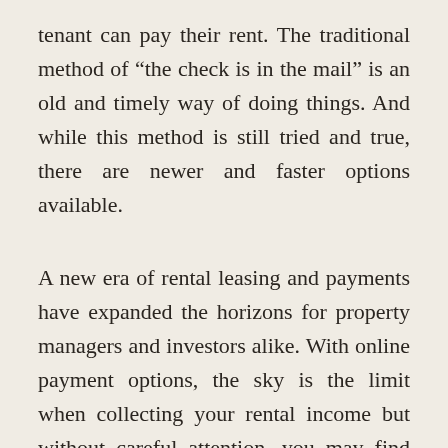tenant can pay their rent. The traditional method of “the check is in the mail” is an old and timely way of doing things. And while this method is still tried and true, there are newer and faster options available.
A new era of rental leasing and payments have expanded the horizons for property managers and investors alike. With online payment options, the sky is the limit when collecting your rental income but without careful attention, you may find yourself paying more than just your taxes. When